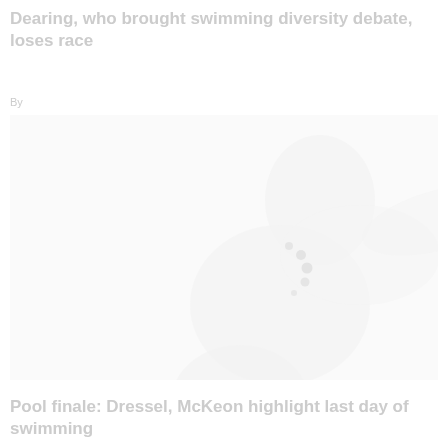Dearing, who brought swimming diversity debate, loses race
By [Author name and date text - faded/unreadable]
[Figure (photo): A very faded/washed out photo of a swimmer, showing a person in water, nearly white due to high exposure]
Pool finale: Dressel, McKeon highlight last day of swimming